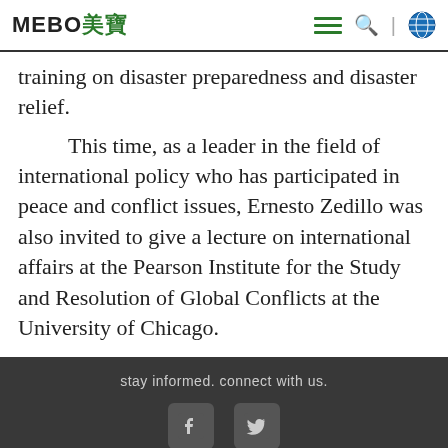MEBO美寶
training on disaster preparedness and disaster relief.
This time, as a leader in the field of international policy who has participated in peace and conflict issues, Ernesto Zedillo was also invited to give a lecture on international affairs at the Pearson Institute for the Study and Resolution of Global Conflicts at the University of Chicago.
stay informed. connect with us.
Copyright © MEBO 110105001616